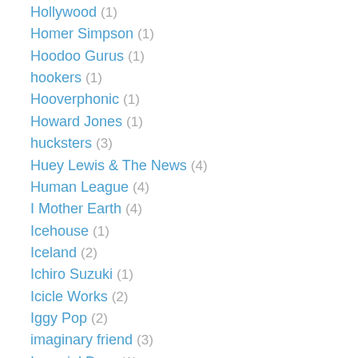Hollywood (1)
Homer Simpson (1)
Hoodoo Gurus (1)
hookers (1)
Hooverphonic (1)
Howard Jones (1)
hucksters (3)
Huey Lewis & The News (4)
Human League (4)
I Mother Earth (4)
Icehouse (1)
Iceland (2)
Ichiro Suzuki (1)
Icicle Works (2)
Iggy Pop (2)
imaginary friend (3)
Imperial Drag (1)
inauguration (1)
Indiana (1)
infommercial (2)